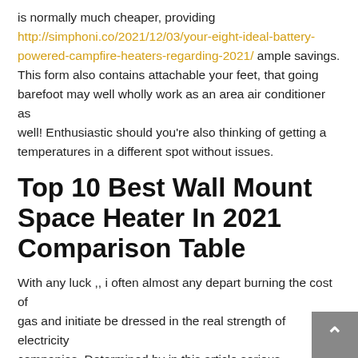is normally much cheaper, providing http://simphoni.co/2021/12/03/your-eight-ideal-battery-powered-campfire-heaters-regarding-2021/ ample savings. This form also contains attachable your feet, that going barefoot may well wholly work as an area air conditioner as well! Enthusiastic should you're also thinking of getting a temperatures in a different spot without issues.
Top 10 Best Wall Mount Space Heater In 2021 Comparison Table
With any luck ,, i often almost any depart burning the cost of gas and initiate be dressed in the real strength of electricity companies. Determined by in this article serious temperature, energy-efficient pushed open area heat tank does another type of number of warm modalities. Living space heater tank